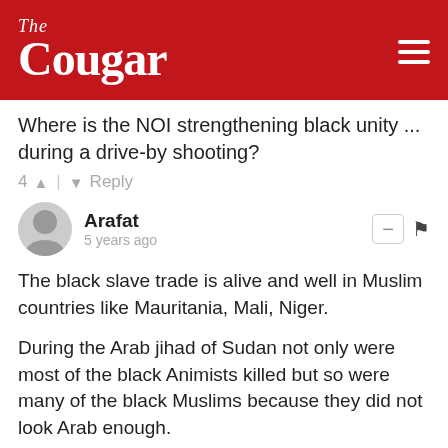The Cougar
Where is the NOI strengthening black unity ... during a drive-by shooting?
4 ▲ | ▼ Reply
Arafat
5 years ago
The black slave trade is alive and well in Muslim countries like Mauritania, Mali, Niger.

During the Arab jihad of Sudan not only were most of the black Animists killed but so were many of the black Muslims because they did not look Arab enough.

Stockholm Syndrome alive and well at Univ of Houston.
1 ▲ | ▼ Reply
[Figure (screenshot): Advertisement banner for neo apartment community showing lifestyle images]
5 years ago